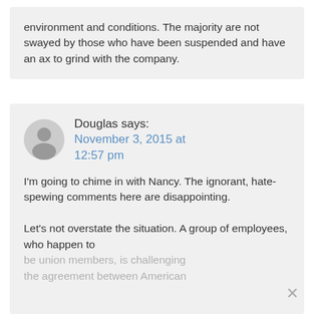environment and conditions. The majority are not swayed by those who have been suspended and have an ax to grind with the company.
Douglas says: November 3, 2015 at 12:57 pm

I'm going to chime in with Nancy. The ignorant, hate-spewing comments here are disappointing.

Let's not overstate the situation. A group of employees, who happen to be union members, is challenging the agreement between American